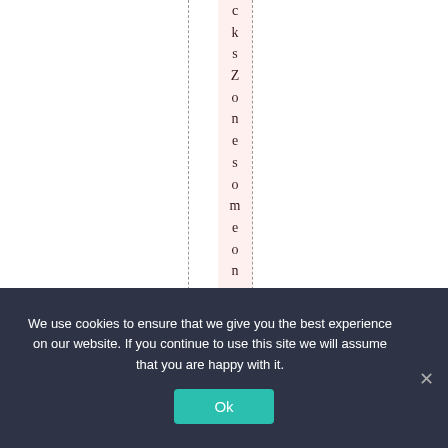cksZonesomeoneppost
We use cookies to ensure that we give you the best experience on our website. If you continue to use this site we will assume that you are happy with it. Ok